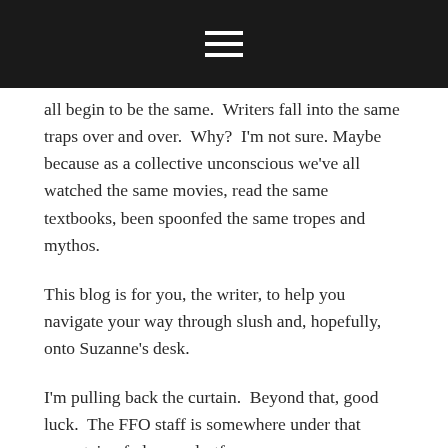≡ (hamburger menu icon)
all begin to be the same.  Writers fall into the same traps over and over.  Why?  I'm not sure. Maybe because as a collective unconscious we've all watched the same movies, read the same textbooks, been spoonfed the same tropes and mythos.
This blog is for you, the writer, to help you navigate your way through slush and, hopefully, onto Suzanne's desk.
I'm pulling back the curtain.  Beyond that, good luck.  The FFO staff is somewhere under that mountain of .docs and .rtfs.
In the meantime, keep writing.  And dash off a question or two for me.
Much love.
Anna
SHARE THIS: